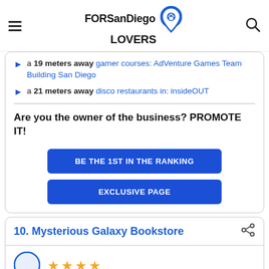FORSanDiego LOVERS
a 19 meters away gamer courses: AdVenture Games Team Building San Diego
a 21 meters away disco restaurants in: insideOUT
Are you the owner of the business? PROMOTE IT!
BE THE 1ST IN THE RANKING
EXCLUSIVE PAGE
10. Mysterious Galaxy Bookstore